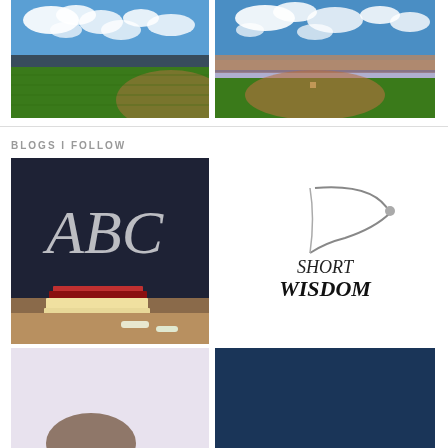[Figure (photo): Baseball stadium field view from stands, green grass and blue sky with clouds]
[Figure (photo): Baseball stadium aerial/wide view with crowd, green field, and blue sky with clouds]
BLOGS I FOLLOW
[Figure (photo): Chalkboard with ABC written in chalk, with stacked books and chalk pieces on a wooden surface]
[Figure (logo): Short Wisdom logo - cursive text reading SHORT WISDOM with a curved sail or wing shape above it]
[Figure (photo): Partial photo with light purple/lavender background, partially visible object]
[Figure (photo): Dark navy blue background image]